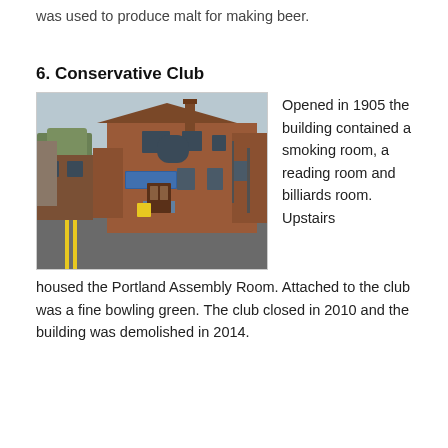was used to produce malt for making beer.
6. Conservative Club
[Figure (photo): Photograph of the Conservative Club building, a red brick Victorian/Edwardian structure on a street corner, with signs on the facade and a road with yellow lines in the foreground.]
Opened in 1905 the building contained a smoking room, a reading room and billiards room. Upstairs housed the Portland Assembly Room. Attached to the club was a fine bowling green. The club closed in 2010 and the building was demolished in 2014.